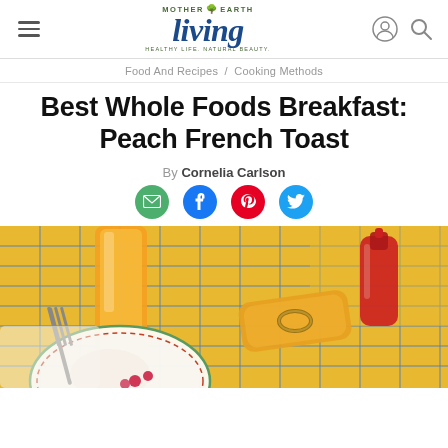Mother Earth Living — navigation header with hamburger menu, logo, user icon, and search icon
Food And Recipes / Cooking Methods
Best Whole Foods Breakfast: Peach French Toast
By Cornelia Carlson
[Figure (infographic): Social sharing icons: email (green), Facebook (blue), Pinterest (red), Twitter (blue)]
[Figure (photo): Overhead photo of a breakfast table with a glass of orange juice, a plate with food and fork, a rolled yellow napkin with a bracelet, and a red bottle, all on a yellow and blue checkered tablecloth]